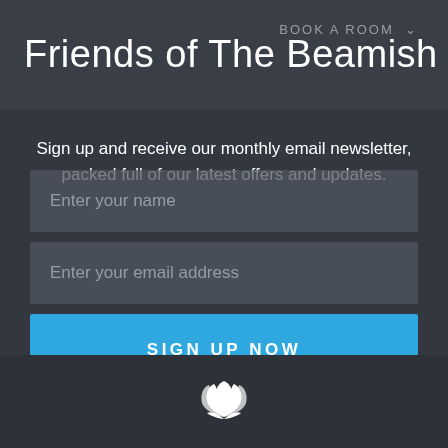Friends of The Beamish
Sign up and receive our monthly email newsletter, packed full of our latest offers and updates.
[Figure (screenshot): Web form with two input fields: 'Enter your name' and 'Enter your email address', followed by a blue 'SIGN UP NOW' button]
[Figure (logo): White lotus flower icon at bottom of page]